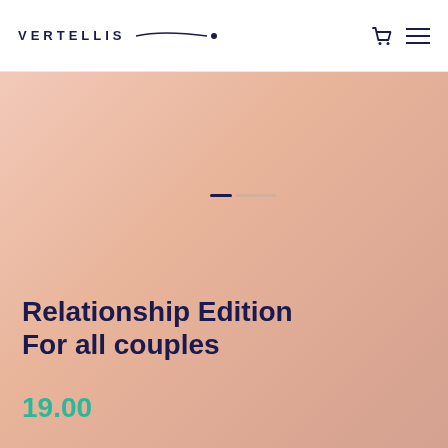VERTELLIS
[Figure (illustration): Hero product image area with peach/salmon gradient background and pagination indicator dots]
Relationship Edition For all couples
19.00